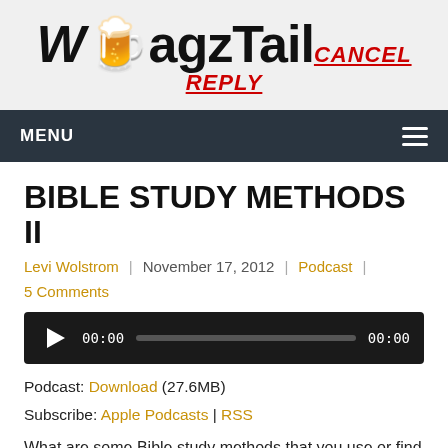[Figure (logo): WagzTail logo with beer mug emoji and CANCEL REPLY text in red italic]
MENU
BIBLE STUDY METHODS II
Levi Wolstrom | November 17, 2012 | Podcast | 5 Comments
[Figure (other): Audio player with play button, time 00:00, progress bar, and end time 00:00]
Podcast: Download (27.6MB)
Subscribe: Apple Podcasts | RSS
What are some Bible study methods that you use or find helpful? This week, in conclusion to the previous episode, we discuss a few ways of study such as topical, biographical, chronological, and several others. We also discuss several common interpretation errors and how to avoid them. You will